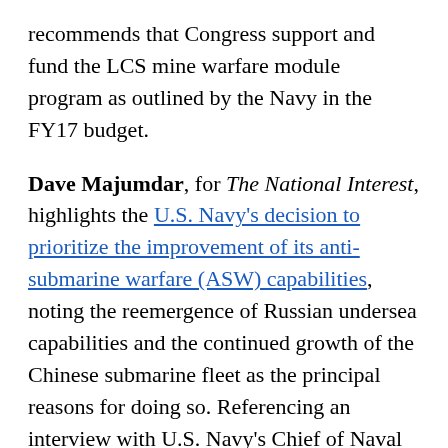recommends that Congress support and fund the LCS mine warfare module program as outlined by the Navy in the FY17 budget.
Dave Majumdar, for The National Interest, highlights the U.S. Navy's decision to prioritize the improvement of its anti-submarine warfare (ASW) capabilities, noting the reemergence of Russian undersea capabilities and the continued growth of the Chinese submarine fleet as the principal reasons for doing so. Referencing an interview with U.S. Navy's Chief of Naval Operations Admiral John Richardson, he explains that the future fleet's ASW operations will combine air, sea, and undersea forces, emphasizing the need to ensure that the Navy's attack submarine (SSN) force remains dominant in the subsurface environment. He also notes that although the